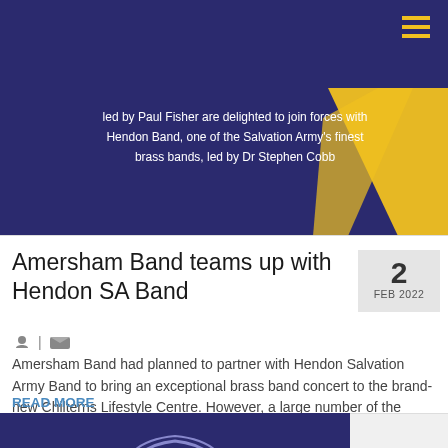[Figure (screenshot): Dark navy blue banner with white text: 'led by Paul Fisher are delighted to join forces with Hendon Band, one of the Salvation Army's finest brass bands, led by Dr Stephen Cobb'. Yellow angular decorative shape on the right side.]
Amersham Band teams up with Hendon SA Band
2 FEB 2022
Amersham Band had planned to partner with Hendon Salvation Army Band to bring an exceptional brass band concert to the brand-new Chilterns Lifestyle Centre. However, a large number of the members of Hendon...
READ MORE
[Figure (logo): Amersham Band logo on dark navy background. Yellow 'AB' letters with decorative arcs. Text below: AMERSHAM BAND. Caption: A joint concert with two of Amersham's Bands]